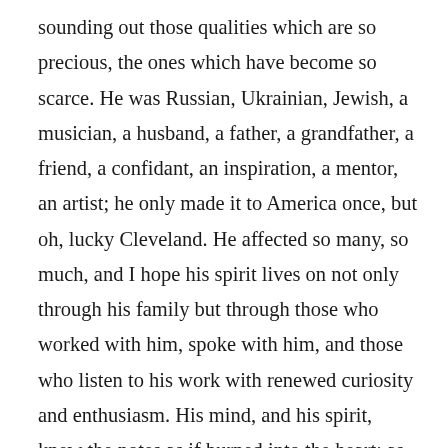sounding out those qualities which are so precious, the ones which have become so scarce. He was Russian, Ukrainian, Jewish, a musician, a husband, a father, a grandfather, a friend, a confidant, an inspiration, a mentor, an artist; he only made it to America once, but oh, lucky Cleveland. He affected so many, so much, and I hope his spirit lives on not only through his family but through those who worked with him, spoke with him, and those who listen to his work with renewed curiosity and enthusiasm. His mind, and his spirit, knew the notes as if burned into the heart; as he told me in 2019, he “composes” them in a sense, himself, every time he opens a score. He never used such knowledge as a weapon, but instead, as an umbrella. I imagine myself standing under its shade now, hearing the sounds of